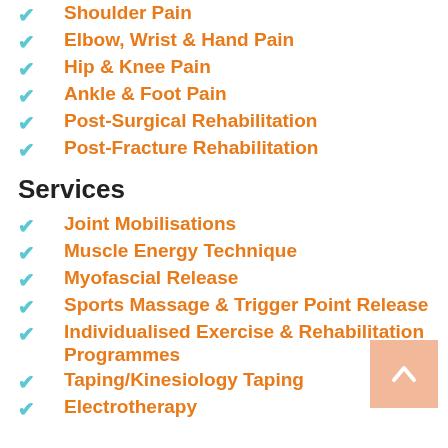Shoulder Pain
Elbow, Wrist & Hand Pain
Hip & Knee Pain
Ankle & Foot Pain
Post-Surgical Rehabilitation
Post-Fracture Rehabilitation
Services
Joint Mobilisations
Muscle Energy Technique
Myofascial Release
Sports Massage & Trigger Point Release
Individualised Exercise & Rehabilitation Programmes
Taping/Kinesiology Taping
Electrotherapy